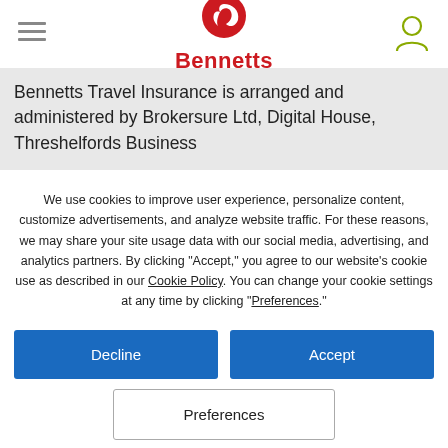[Figure (logo): Bennetts logo with red bird/swoosh icon and red bold text 'Bennetts' below]
Bennetts Travel Insurance is arranged and administered by Brokersure Ltd, Digital House, Threshelfords Business
We use cookies to improve user experience, personalize content, customize advertisements, and analyze website traffic. For these reasons, we may share your site usage data with our social media, advertising, and analytics partners. By clicking "Accept," you agree to our website's cookie use as described in our Cookie Policy. You can change your cookie settings at any time by clicking "Preferences."
Decline
Accept
Preferences